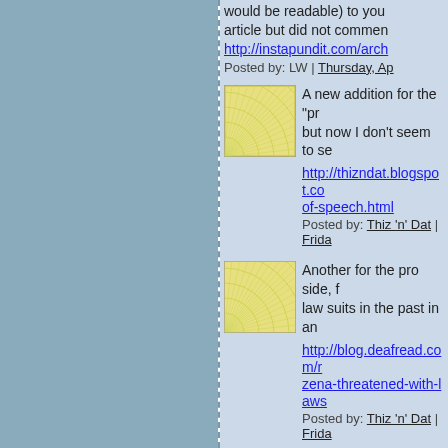would be readable) to you article but did not comment http://instapundit.com/arch
Posted by: LW | Thursday, Ap
[Figure (illustration): Square avatar icon with yellow-green sunburst/fan pattern on white background]
A new addition for the "pr but now I don't seem to se
http://thizndat.blogspot.co of-speech.html
Posted by: Thiz 'n' Dat | Frida
[Figure (illustration): Square avatar icon with yellow-green sunburst/fan pattern on white background]
Another for the pro side, f law suits in the past in an
http://blog.deafread.com/r zena-threatened-with-laws
Posted by: Thiz 'n' Dat | Frida
[Figure (illustration): Square avatar icon with grey spiral/geometric pattern on white background, dark center dot]
Volokh Conspiracy has a c http://volokh.com/posts/12
Also there's a description o http://www.citmedialaw.o